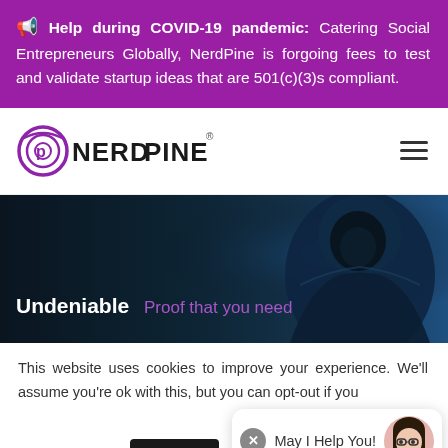🔔 Help during COVID-19 pandemic: Catering Social Entrepreneurs Globally, NerdPine is forgoing fees to test and validate startup ideas that are 501(c)(3)s compliant.
[Figure (logo): NerdPine logo with stylized P icon in purple and black text reading NERDPINE with registered trademark symbol]
[Figure (photo): Dark atmospheric image of a hooded figure in blue tones with text overlay reading 'Undeniable Proof that you need']
This website uses cookies to improve your experience. We'll assume you're ok with this, but you can opt-out if you wish.
May I Help You!